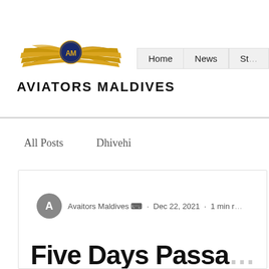[Figure (logo): Aviators Maldives logo with golden wings and circular emblem with AM text]
AVIATORS MALDIVES
Home   News   St...
All Posts
Dhivehi
Avaitors Maldives Admin · Dec 22, 2021 · 1 min r...
Five Days Passa...